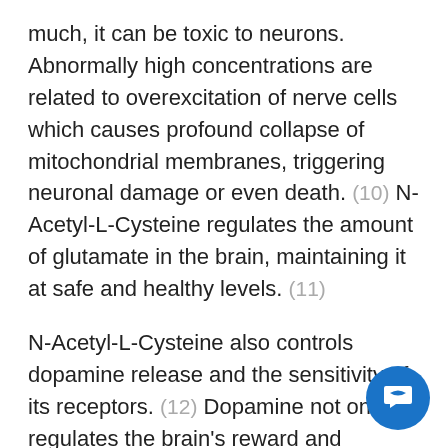much, it can be toxic to neurons. Abnormally high concentrations are related to overexcitation of nerve cells which causes profound collapse of mitochondrial membranes, triggering neuronal damage or even death. (10) N-Acetyl-L-Cysteine regulates the amount of glutamate in the brain, maintaining it at safe and healthy levels. (11)
N-Acetyl-L-Cysteine also controls dopamine release and the sensitivity of its receptors. (12) Dopamine not only regulates the brain's reward and pleasure centers but also modulates plasticity of the brain, specifically the striatum, cortex, and hippocampus regions. (13) Dopamine is also known to protect neurons from glutamate